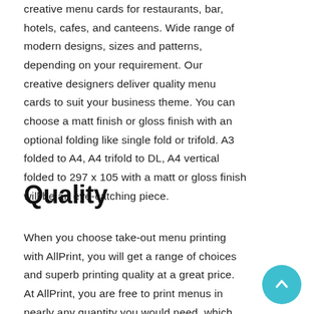creative menu cards for restaurants, bar, hotels, cafes, and canteens. Wide range of modern designs, sizes and patterns, depending on your requirement. Our creative designers deliver quality menu cards to suit your business theme. You can choose a matt finish or gloss finish with an optional folding like single fold or trifold. A3 folded to A4, A4 trifold to DL, A4 vertical folded to 297 x 105 with a matt or gloss finish will be an eye-catching piece.
Quality
When you choose take-out menu printing with AllPrint, you will get a range of choices and superb printing quality at a great price. At AllPrint, you are free to print menus in nearly any quantity you would need, which